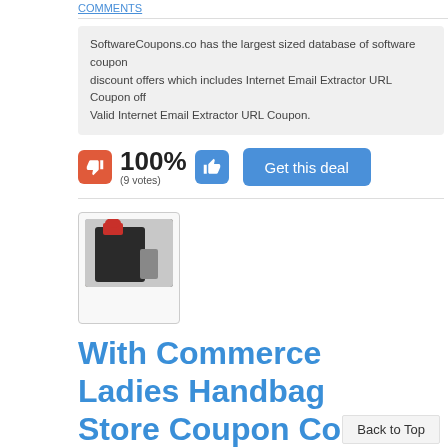COMMENTS
SoftwareCoupons.co has the largest sized database of software coupon discount offers which includes Internet Email Extractor URL Coupon offers. Valid Internet Email Extractor URL Coupon.
100% (9 votes)
Get this deal
[Figure (photo): Small thumbnail image of a person carrying a ladies handbag]
With Commerce Ladies Handbag Store Coupon Code
Back to Top